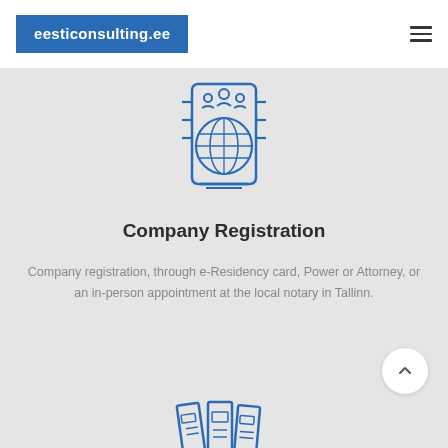eesticonsulting.ee
[Figure (illustration): Blue line-art icon of people/globe/meeting concept on gray background]
Company Registration
Company registration, through e-Residency card, Power or Attorney, or an in-person appointment at the local notary in Tallinn.
[Figure (illustration): Blue line-art icon of binders/books at bottom of page]